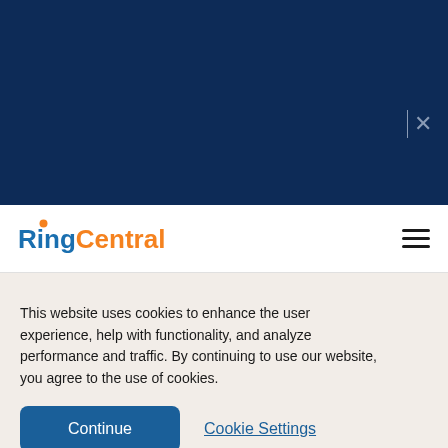[Figure (screenshot): Dark navy blue banner/hero area at top of webpage]
RingCentral navigation bar with logo and hamburger menu
This website uses cookies to enhance the user experience, help with functionality, and analyze performance and traffic. By continuing to use our website, you agree to the use of cookies.
Continue
Cookie Settings